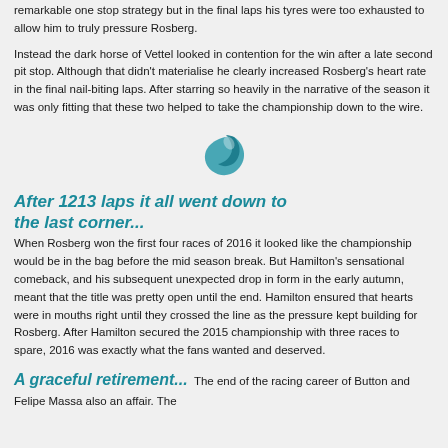remarkable one stop strategy but in the final laps his tyres were too exhausted to allow him to truly pressure Rosberg.
Instead the dark horse of Vettel looked in contention for the win after a late second pit stop. Although that didn't materialise he clearly increased Rosberg's heart rate in the final nail-biting laps. After starring so heavily in the narrative of the season it was only fitting that these two helped to take the championship down to the wire.
[Figure (logo): Teal swirl logo / icon centered on the page]
After 1213 laps it all went down to the last corner...
When Rosberg won the first four races of 2016 it looked like the championship would be in the bag before the mid season break. But Hamilton's sensational comeback, and his subsequent unexpected drop in form in the early autumn, meant that the title was pretty open until the end. Hamilton ensured that hearts were in mouths right until they crossed the line as the pressure kept building for Rosberg. After Hamilton secured the 2015 championship with three races to spare, 2016 was exactly what the fans wanted and deserved.
A graceful retirement...  The end of the racing career of Button and Felipe Massa also an affair. The